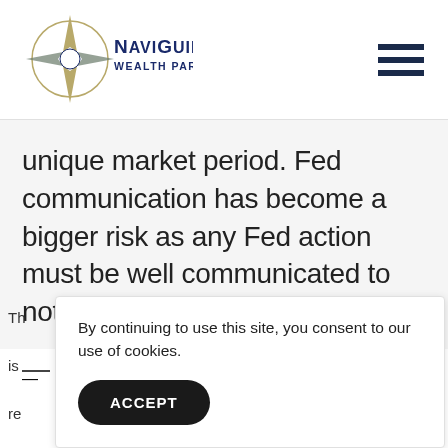[Figure (logo): NaviGuide Wealth Partners Inc. logo with compass star graphic and navy blue text]
unique market period. Fed communication has become a bigger risk as any Fed action must be well communicated to not unnerve investors.
—
By continuing to use this site, you consent to our use of cookies.
ACCEPT